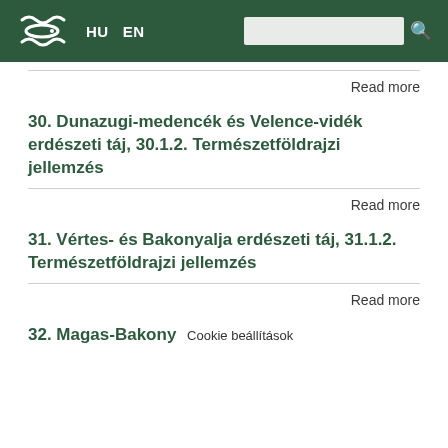HU EN [search bar]
Read more
30. Dunazugi-medencék és Velence-vidék erdészeti táj, 30.1.2. Természetföldrajzi jellemzés
Read more
31. Vértes- és Bakonyalja erdészeti táj, 31.1.2. Természetföldrajzi jellemzés
Read more
32. Magas-Bakony
Cookie beállítások